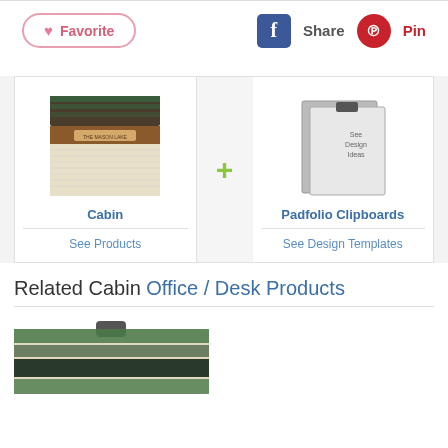[Figure (screenshot): Favorite button with heart icon, pink border]
[Figure (screenshot): Facebook Share button and Pinterest Pin button]
[Figure (screenshot): Cabin product image (notebook with cabin design)]
Cabin
See Products
[Figure (screenshot): Padfolio Clipboards product image]
Padfolio Clipboards
See Design Templates
Related Cabin Office / Desk Products
[Figure (screenshot): Related product image - cabin themed clipboard at bottom]